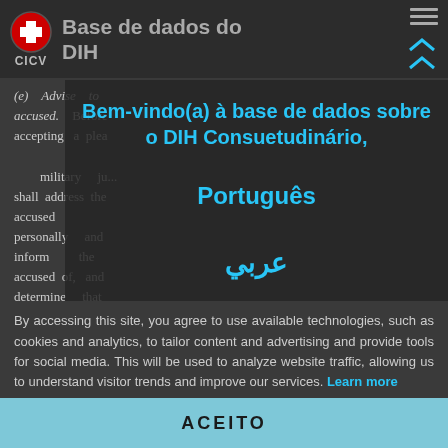Base de dados do DIH
[Figure (logo): ICRC/CICV red cross logo with CICV text below]
(c) Advise to accused. Before accepting a plea ... military ju... shall address the accused personally and inform the accused of, and determine that the accused
Bem-vindo(a) à base de dados sobre o DIH Consuetudinário,
Português
عربي
By accessing this site, you agree to use available technologies, such as cookies and analytics, to tailor content and advertising and provide tools for social media. This will be used to analyze website traffic, allowing us to understand visitor trends and improve our services. Learn more
ACEITO